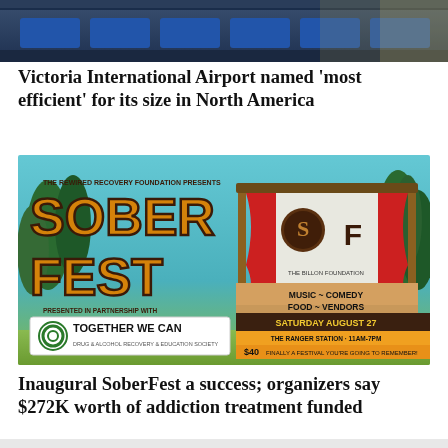[Figure (photo): Top portion of an interior airport photo showing seating area with blue chairs and large windows]
Victoria International Airport named 'most efficient' for its size in North America
[Figure (illustration): Sober Fest event poster: The Rewired Recovery Foundation presents Sober Fest, presented in partnership with Together We Can Drug & Alcohol Recovery & Education Society. The Billon Foundation. Music ~ Comedy, Food ~ Vendors. Saturday August 27, The Ranger Station · 11AM-7PM. $40 Finally a festival you're going to remember!]
Inaugural SoberFest a success; organizers say $272K worth of addiction treatment funded